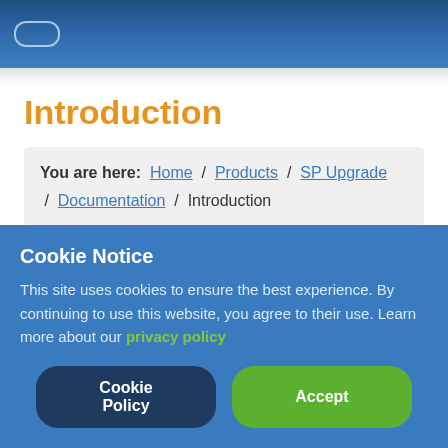Navigation bar with back button
Introduction
You are here: Home / Products / SP Upgrade / Documentation / Introduction
SP Upgrade is able to migrate (convert and transfer) the core data from Joomla! 1.5 (from now on called source) to Joomla! 1.6, 1.7, 2.5 or 3.x (from now on called destination) and above.
Cookie Notice
This site uses cookies to ensure the best experience. By continuing to use this website, you agree to their use. Learn more about our privacy policy